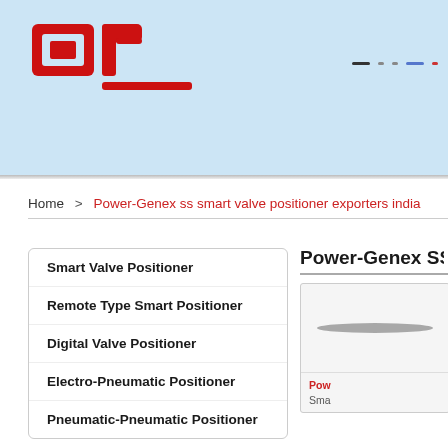[Figure (logo): Red stylized 'ar' logo mark with underscore, company brand]
Home  >  Power-Genex ss smart valve positioner exporters india
Smart Valve Positioner
Remote Type Smart Positioner
Digital Valve Positioner
Electro-Pneumatic Positioner
Pneumatic-Pneumatic Positioner
Power-Genex SS SM
[Figure (photo): Product image of Power-Genex SS Smart valve positioner]
Power-Genex SS Smart valve positioner — Sma...